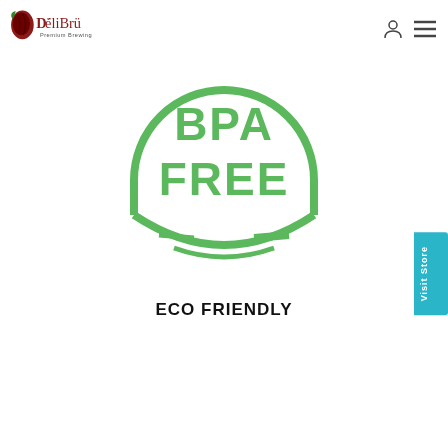[Figure (logo): DéliBrü Premium Brewing logo with coffee bean icon and stylized text]
[Figure (illustration): BPA FREE circular badge/icon in green color with smile-like decorative element]
ECO FRIENDLY